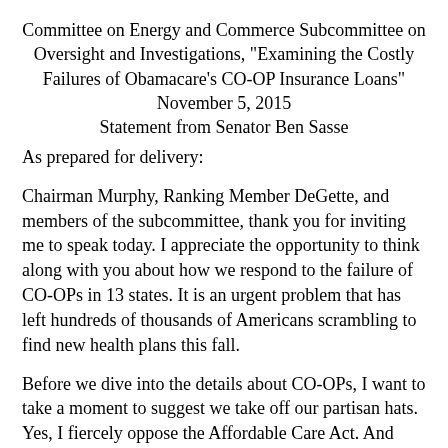Committee on Energy and Commerce Subcommittee on Oversight and Investigations, "Examining the Costly Failures of Obamacare's CO-OP Insurance Loans" November 5, 2015 Statement from Senator Ben Sasse
As prepared for delivery:
Chairman Murphy, Ranking Member DeGette, and members of the subcommittee, thank you for inviting me to speak today. I appreciate the opportunity to think along with you about how we respond to the failure of CO-OPs in 13 states. It is an urgent problem that has left hundreds of thousands of Americans scrambling to find new health plans this fall.
Before we dive into the details about CO-OPs, I want to take a moment to suggest we take off our partisan hats. Yes, I fiercely oppose the Affordable Care Act. And yes, there are members of this committee who might